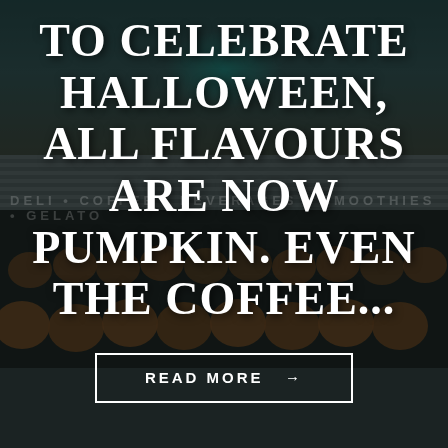[Figure (photo): Dark atmospheric photo of a deli/coffee shop storefront with rows of orange pumpkins stacked outside, a striped awning reading 'DELI • COFFEE • BEVERAGES • SMOOTHIES • GELATO', and a teal glow in the upper background. A person walks in front of the pumpkins.]
TO CELEBRATE HALLOWEEN, ALL FLAVOURS ARE NOW PUMPKIN. EVEN THE COFFEE...
READ MORE →